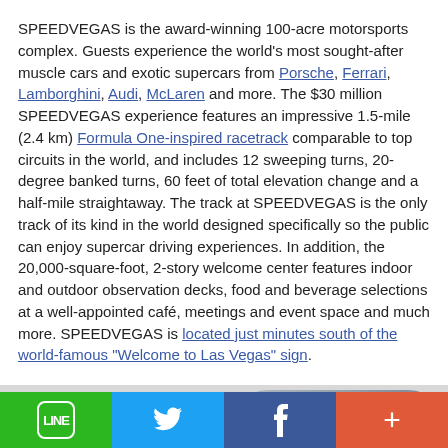SPEEDVEGAS is the award-winning 100-acre motorsports complex. Guests experience the world's most sought-after muscle cars and exotic supercars from Porsche, Ferrari, Lamborghini, Audi, McLaren and more. The $30 million SPEEDVEGAS experience features an impressive 1.5-mile (2.4 km) Formula One-inspired racetrack comparable to top circuits in the world, and includes 12 sweeping turns, 20-degree banked turns, 60 feet of total elevation change and a half-mile straightaway. The track at SPEEDVEGAS is the only track of its kind in the world designed specifically so the public can enjoy supercar driving experiences. In addition, the 20,000-square-foot, 2-story welcome center features indoor and outdoor observation decks, food and beverage selections at a well-appointed café, meetings and event space and much more. SPEEDVEGAS is located just minutes south of the world-famous "Welcome to Las Vegas" sign.
[Figure (photo): Partial photo of a car or racetrack facility, mostly gray/silver tones, cut off at bottom of page]